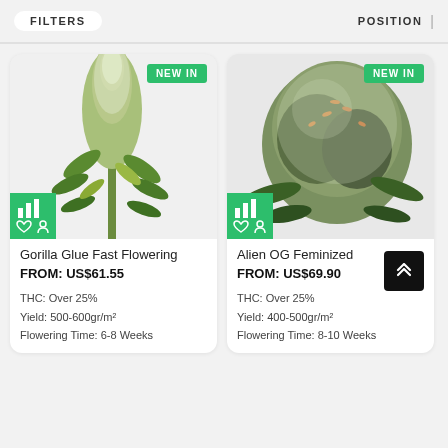FILTERS   POSITION
[Figure (photo): Cannabis plant bud - Gorilla Glue Fast Flowering, with NEW IN badge and teal icon overlay]
Gorilla Glue Fast Flowering
FROM: US$61.55
THC: Over 25%
Yield: 500-600gr/m²
Flowering Time: 6-8 Weeks
[Figure (photo): Cannabis plant bud - Alien OG Feminized, with NEW IN badge and teal icon overlay]
Alien OG Feminized
FROM: US$69.90
THC: Over 25%
Yield: 400-500gr/m²
Flowering Time: 8-10 Weeks